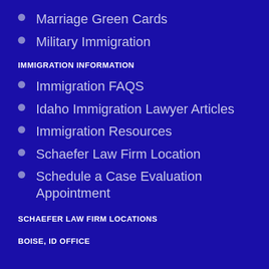Marriage Green Cards
Military Immigration
IMMIGRATION INFORMATION
Immigration FAQS
Idaho Immigration Lawyer Articles
Immigration Resources
Schaefer Law Firm Location
Schedule a Case Evaluation Appointment
SCHAEFER LAW FIRM LOCATIONS
BOISE, ID OFFICE